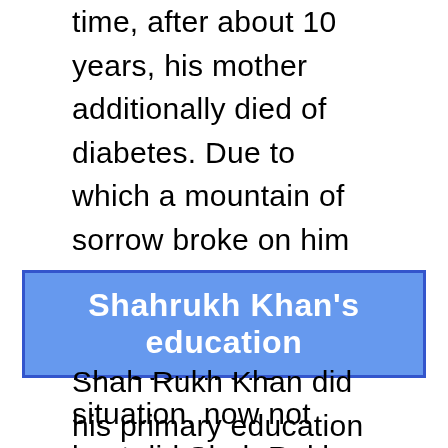time, after about 10 years, his mother additionally died of diabetes. Due to which a mountain of sorrow broke on him and his elder sister Shahnaz Lalrukh, however in this situation, now not best did Shah Rukh keep himself, but also performed the responsibility of his elder sister neatly.
Shahrukh Khan's education
Shah Rukh Khan did his primary education at St. Columbia School in Delhi. Where he excelled in sports as well as studies. He received many awards in his student life. As a child, he took part in many plays and played various roles. In Shah Rukh Khan's childhood, his favorite Bollywood actors were Amitabh Bachchan and Manoj...